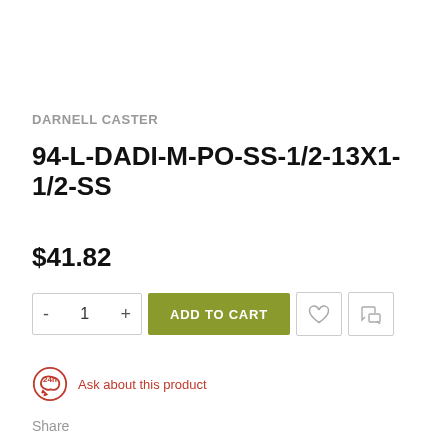DARNELL CASTER
94-L-DADI-M-PO-SS-1/2-13X1-1/2-SS
$41.82
ADD TO CART
Ask about this product
Share